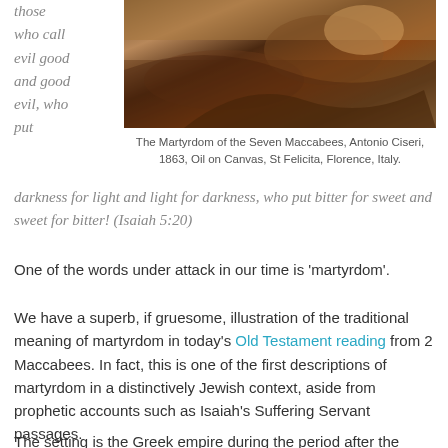those who call evil good and good evil, who put
[Figure (photo): Painting depicting the Martyrdom of the Seven Maccabees by Antonio Ciseri, 1863, Oil on Canvas, St Felicita, Florence, Italy.]
The Martyrdom of the Seven Maccabees, Antonio Ciseri, 1863, Oil on Canvas, St Felicita, Florence, Italy.
darkness for light and light for darkness, who put bitter for sweet and sweet for bitter! (Isaiah 5:20)
One of the words under attack in our time is ‘martyrdom’.
We have a superb, if gruesome, illustration of the traditional meaning of martyrdom in today’s Old Testament reading from 2 Maccabees.  In fact, this is one of the first descriptions of martyrdom in a distinctively Jewish context, aside from prophetic accounts such as Isaiah’s Suffering Servant passages.
The setting is the Greek empire during the period after the